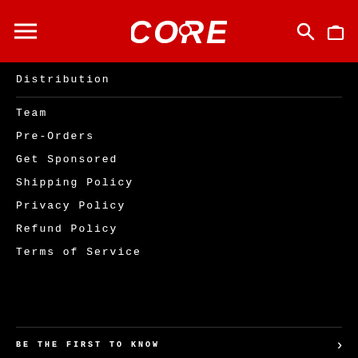CORE
Distribution
Team
Pre-Orders
Get Sponsored
Shipping Policy
Privacy Policy
Refund Policy
Terms of Service
BE THE FIRST TO KNOW